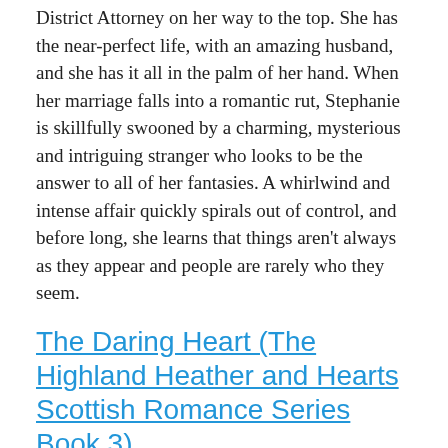District Attorney on her way to the top. She has the near-perfect life, with an amazing husband, and she has it all in the palm of her hand. When her marriage falls into a romantic rut, Stephanie is skillfully swooned by a charming, mysterious and intriguing stranger who looks to be the answer to all of her fantasies. A whirlwind and intense affair quickly spirals out of control, and before long, she learns that things aren't always as they appear and people are rarely who they seem.
The Daring Heart (The Highland Heather and Hearts Scottish Romance Series Book 3)
Historical Romance > Scottish
Author: Carmen Caine
Regularly $2.99, Today $0.99